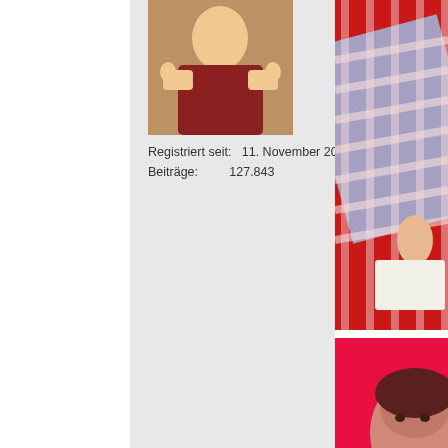[Figure (photo): User avatar image showing a person in costume with thumbs up, partially cropped at top]
Registriert seit:   11. November 2003
Beiträge:          127.843
[Figure (photo): Photo of person in blue and white checkered clothing on red background, holding white book/paper, body partially cropped]
[Figure (photo): Photo of woman with dark hair on pink/red background, face visible at bottom of page, partially cropped]